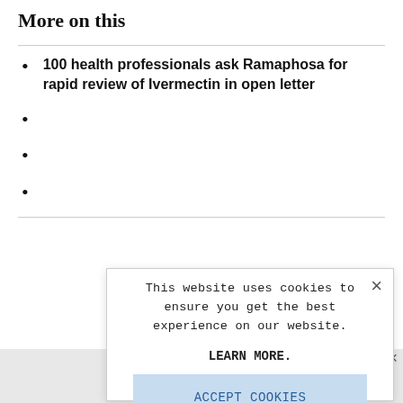More on this
100 health professionals ask Ramaphosa for rapid review of Ivermectin in open letter
[Figure (screenshot): Cookie consent modal dialog with close X button, text 'This website uses cookies to ensure you get the best experience on our website.', 'LEARN MORE.' link, and 'ACCEPT COOKIES' button in light blue.]